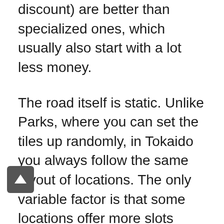discount) are better than specialized ones, which usually also start with a lot less money.
The road itself is static. Unlike Parks, where you can set the tiles up randomly, in Tokaido you always follow the same layout of locations. The only variable factor is that some locations offer more slots when there are more players playing.
Considering the above factors, Tokaido really suffers when it comes to long-term appeal. Suer, it looks great on the table, you can teach it to new players in a matter of minutes, and the atmosphere is great. But for the sake of strategy or engaging gameplay, it won't hit the table too often.